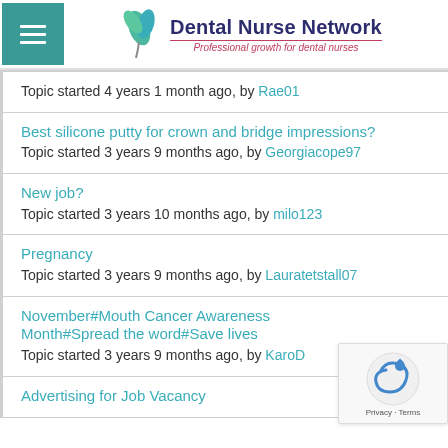Dental Nurse Network — Professional growth for dental nurses
Topic started 4 years 1 month ago, by Rae01
Best silicone putty for crown and bridge impressions?
Topic started 3 years 9 months ago, by Georgiacope97
New job?
Topic started 3 years 10 months ago, by milo123
Pregnancy
Topic started 3 years 9 months ago, by Lauratetstall07
November#Mouth Cancer Awareness Month#Spread the word#Save lives
Topic started 3 years 9 months ago, by KaroD
Advertising for Job Vacancy